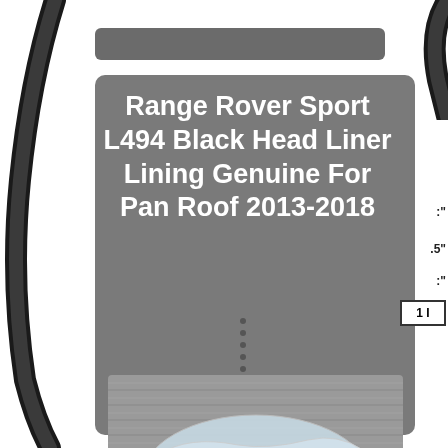Range Rover Sport L494 Black Head Liner Lining Genuine For Pan Roof 2013-2018
[Figure (photo): Product photo of a black headliner wrapped in plastic packaging, leaning against a metal shutter background. eBay watermark visible at bottom.]